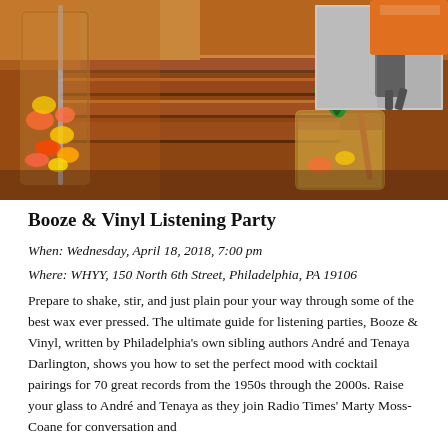[Figure (photo): Overhead photo of cocktails — a tall glass pitcher filled with colorful fruit pieces and a short mason jar cocktail with mint garnish and copper straw, on a wooden slatted surface with a black-and-white photograph of a person in the background.]
Booze & Vinyl Listening Party
When: Wednesday, April 18, 2018, 7:00 pm
Where: WHYY, 150 North 6th Street, Philadelphia, PA 19106
Prepare to shake, stir, and just plain pour your way through some of the best wax ever pressed. The ultimate guide for listening parties, Booze & Vinyl, written by Philadelphia's own sibling authors André and Tenaya Darlington, shows you how to set the perfect mood with cocktail pairings for 70 great records from the 1950s through the 2000s. Raise your glass to André and Tenaya as they join Radio Times' Marty Moss-Coane for conversation and